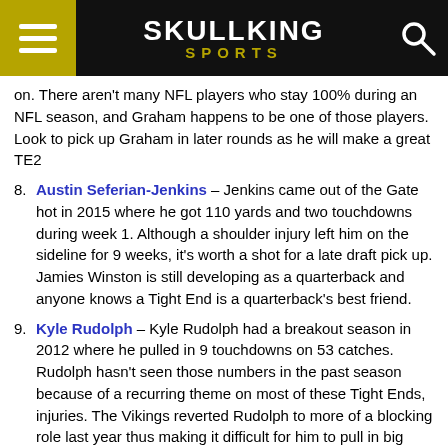SKULLKING SPORTS
on. There aren't many NFL players who stay 100% during an NFL season, and Graham happens to be one of those players. Look to pick up Graham in later rounds as he will make a great TE2
8. Austin Seferian-Jenkins – Jenkins came out of the Gate hot in 2015 where he got 110 yards and two touchdowns during week 1. Although a shoulder injury left him on the sideline for 9 weeks, it's worth a shot for a late draft pick up. Jamies Winston is still developing as a quarterback and anyone knows a Tight End is a quarterback's best friend.
9. Kyle Rudolph – Kyle Rudolph had a breakout season in 2012 where he pulled in 9 touchdowns on 53 catches. Rudolph hasn't seen those numbers in the past season because of a recurring theme on most of these Tight Ends, injuries. The Vikings reverted Rudolph to more of a blocking role last year thus making it difficult for him to pull in big numbers. Rudolph this season will become more of a red zone threat this season